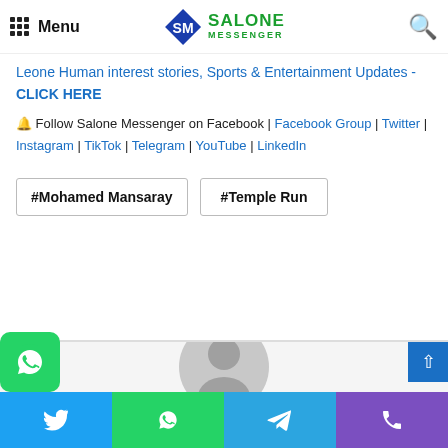Menu | Salone Messenger
Leone Human interest stories, Sports & Entertainment Updates - CLICK HERE
🔔 Follow Salone Messenger on Facebook | Facebook Group | Twitter | Instagram | TikTok | Telegram | YouTube | LinkedIn
#Mohamed Mansaray
#Temple Run
[Figure (illustration): Grey avatar/user profile placeholder circle icon]
Social share bar: Twitter | WhatsApp | Telegram | Phone